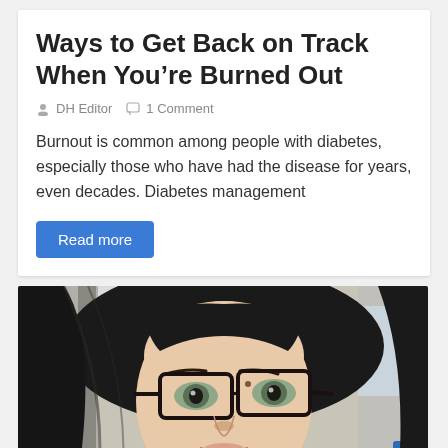Ways to Get Back on Track When You’re Burned Out
• DH Editor  💬 1 Comment
Burnout is common among people with diabetes, especially those who have had the disease for years, even decades. Diabetes management
Read more
[Figure (photo): A woman with black hair and glasses taking a selfie in a car]